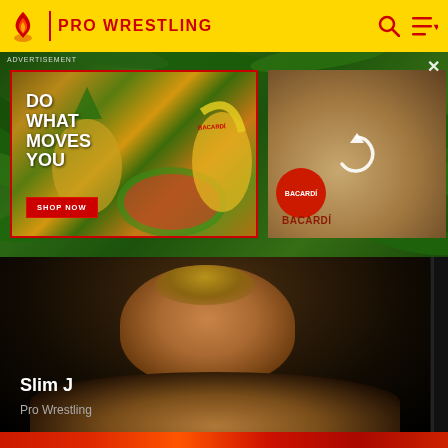PRO WRESTLING
[Figure (screenshot): Advertisement banner for Bacardi featuring tropical fruits (pineapples, watermelon, papaya, bananas) with text 'DO WHAT MOVES YOU' and 'SHOP NOW' button, plus a second panel showing a Bacardi bottle with a loading/refresh icon]
ADVERTISEMENT
[Figure (photo): Close-up photo of a male pro wrestler (Slim J) with short hair against a dark background, bare-shouldered]
Slim J
Pro Wrestling
[Figure (photo): Partial view of another image at the bottom of the page]